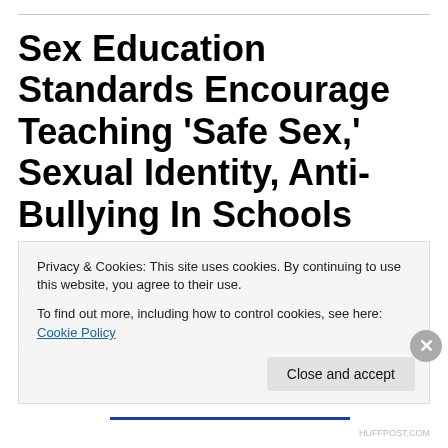Sex Education Standards Encourage Teaching 'Safe Sex,' Sexual Identity, Anti-Bullying In Schools
Start with the overview of the standards by Kimberly Hefling that appeared in HuffPost Education. Links to the actual standards as well as another summary by Nirvi Shaw in EdWeek below.
Privacy & Cookies: This site uses cookies. By continuing to use this website, you agree to their use.
To find out more, including how to control cookies, see here: Cookie Policy
HUFFPOST.COM